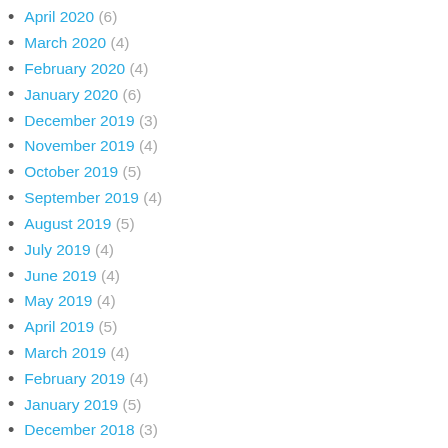April 2020 (6)
March 2020 (4)
February 2020 (4)
January 2020 (6)
December 2019 (3)
November 2019 (4)
October 2019 (5)
September 2019 (4)
August 2019 (5)
July 2019 (4)
June 2019 (4)
May 2019 (4)
April 2019 (5)
March 2019 (4)
February 2019 (4)
January 2019 (5)
December 2018 (3)
November 2018 (4)
October 2018 (5)
September 2018 (5)
August 2018 (5)
July 2018 (3)
June 2018 (4)